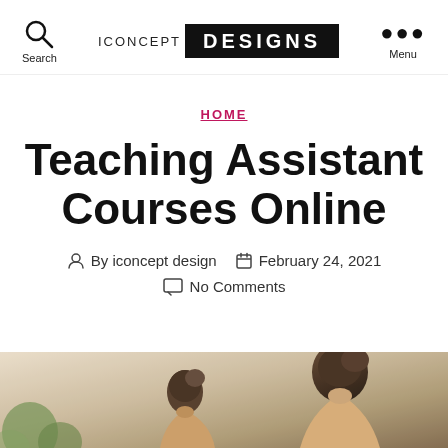Search | ICONCEPT DESIGNS | Menu
HOME
Teaching Assistant Courses Online
By iconcept design   February 24, 2021   No Comments
[Figure (photo): Photo of a woman with hair up, seen from behind/side, in a warm-toned environment with greenery]